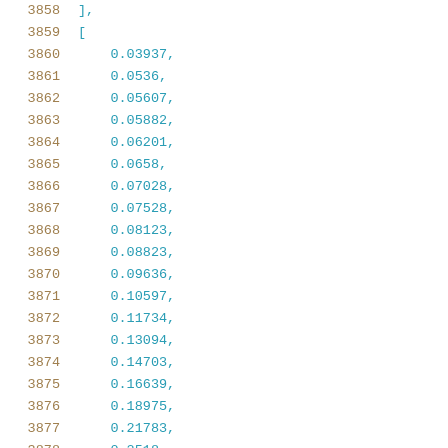3858    ],
3859    [
3860        0.03937,
3861        0.0536,
3862        0.05607,
3863        0.05882,
3864        0.06201,
3865        0.0658,
3866        0.07028,
3867        0.07528,
3868        0.08123,
3869        0.08823,
3870        0.09636,
3871        0.10597,
3872        0.11734,
3873        0.13094,
3874        0.14703,
3875        0.16639,
3876        0.18975,
3877        0.21783,
3878        0.2518,